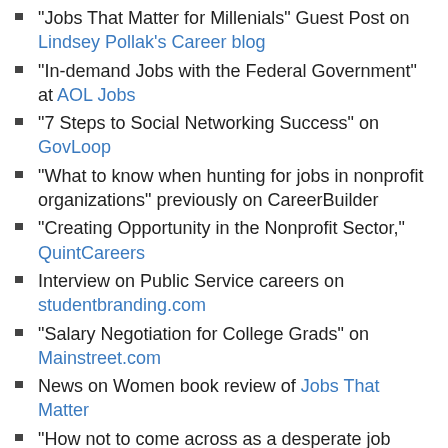“Jobs That Matter for Millenials” Guest Post on Lindsey Pollak’s Career blog
“In-demand Jobs with the Federal Government” at AOL Jobs
“7 Steps to Social Networking Success” on GovLoop
“What to know when hunting for jobs in nonprofit organizations” previously on CareerBuilder
“Creating Opportunity in the Nonprofit Sector,” QuintCareers
Interview on Public Service careers on studentbranding.com
“Salary Negotiation for College Grads” on Mainstreet.com
News on Women book review of Jobs That Matter
“How not to come across as a desperate job seeker,” ProLango Blog